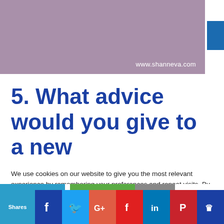[Figure (illustration): Purple/mauve colored banner image with URL watermark www.shanneva.com in white text at bottom right. A blue vertical strip element appears on the right edge.]
5. What advice would you give to a new
We use cookies on our website to give you the most relevant experience by remembering your preferences and repeat visits. By clicking "Accept All", you consent to the use of ALL the cookies. However, you may visit "Cookie Settings" to provide a controlled consent.
[Figure (infographic): Social share bar at bottom with icons for Facebook, Twitter, Google+, Flipboard, LinkedIn, Pinterest, and a crown/email icon. Shares label on left in blue.]